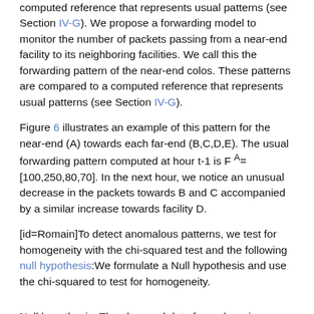computed reference that represents usual patterns (see Section IV-G). We propose a forwarding model to monitor the number of packets passing from a near-end facility to its neighboring facilities. We call this the forwarding pattern of the near-end colos. These patterns are compared to a computed reference that represents usual patterns (see Section IV-G).
Figure 6 illustrates an example of this pattern for the near-end (A) towards each far-end (B,C,D,E). The usual forwarding pattern computed at hour t-1 is F^A= [100,250,80,70]. In the next hour, we notice an unusual decrease in the packets towards B and C accompanied by a similar increase towards facility D.
[id=Romain]To detect anomalous patterns, we test for homogeneity with the chi-squared test and the following null hypothesis:We formulate a Null hypothesis and use the chi-squared to test for homogeneity.
Null hypothesis: The observed data for an hour is consistent with the normal reference computed from the previous hours.
Alternative: The observed data is not consistent with the